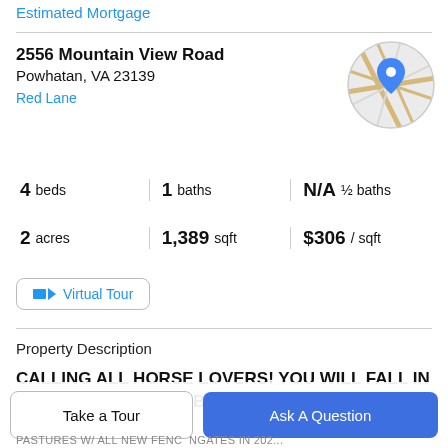Estimated Mortgage
2556 Mountain View Road
Powhatan, VA 23139
Red Lane
[Figure (map): Circular map thumbnail showing a location pin marker over a street map]
4 beds | 1 baths | N/A ½ baths | 2 acres | 1,389 sqft | $306 / sqft
Virtual Tour
Property Description
CALLING ALL HORSE LOVERS! YOU WILL FALL IN LOVE W/THIS ADORABLE FULLY RENOVATED 4
PASTURES W/ ALL NEW FENC NGATES IN 202...
Take a Tour
Ask A Question